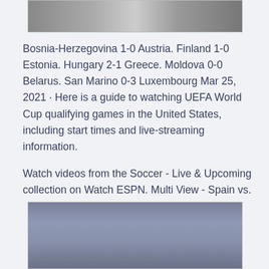[Figure (photo): Grayscale image at top of page, partially visible, appears to be a sports or outdoor scene]
Bosnia-Herzegovina 1-0 Austria. Finland 1-0 Estonia. Hungary 2-1 Greece. Moldova 0-0 Belarus. San Marino 0-3 Luxembourg Mar 25, 2021 · Here is a guide to watching UEFA World Cup qualifying games in the United States, including start times and live-streaming information.
Watch videos from the Soccer - Live & Upcoming collection on Watch ESPN. Multi View - Spain vs.
[Figure (photo): Muted blue-gray image at bottom of page, partially visible, appears to be a sky or stadium scene]